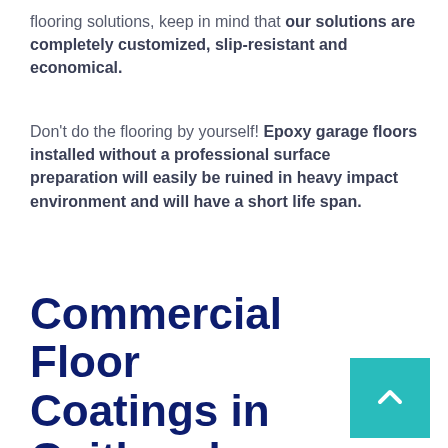flooring solutions, keep in mind that our solutions are completely customized, slip-resistant and economical.
Don't do the flooring by yourself! Epoxy garage floors installed without a professional surface preparation will easily be ruined in heavy impact environment and will have a short life span.
Commercial Floor Coatings in Gaithersburg, MD